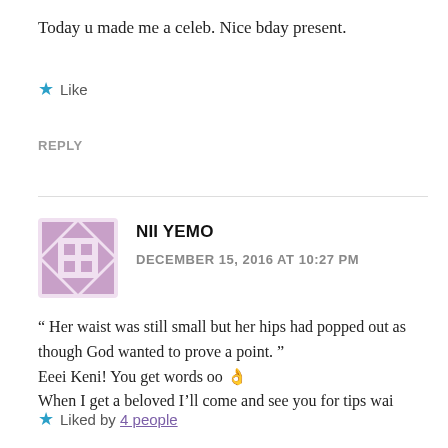Today u made me a celeb. Nice bday present.
Like
REPLY
NII YEMO
DECEMBER 15, 2016 AT 10:27 PM
“ Her waist was still small but her hips had popped out as though God wanted to prove a point.”
Eeei Keni! You get words oo 👌
When I get a beloved I’ll come and see you for tips wai
Liked by 4 people